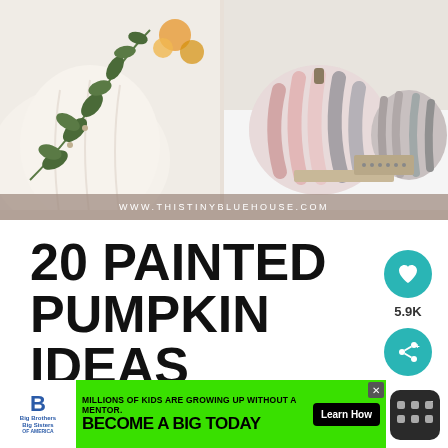[Figure (photo): Two decorated pumpkins side by side: left shows a white pumpkin with painted green botanical leaves, right shows painted pumpkins with pink/gray/white stripe patterns. Watermark reads WWW.THISTINYBLUEHOUSE.COM]
20 PAINTED PUMPKIN IDEAS
[Figure (infographic): Advertisement banner: Big Brothers Big Sisters logo with text 'MILLIONS OF KIDS ARE GROWING UP WITHOUT A MENTOR. BECOME A BIG TODAY' with a 'Learn How' button]